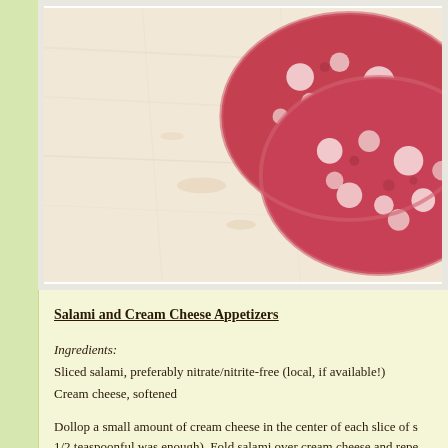[Figure (photo): Close-up photo of sliced salami pieces on a light wooden surface, showing the red meat and white fat marbling of the salami slices.]
Salami and Cream Cheese Appetizers
Ingredients:
Sliced salami, preferably nitrate/nitrite-free (local, if available!)
Cream cheese, softened
Dollop a small amount of cream cheese in the center of each slice of s... 1/2 teaspoonful was enough). Fold salami over cream cheese and repe...